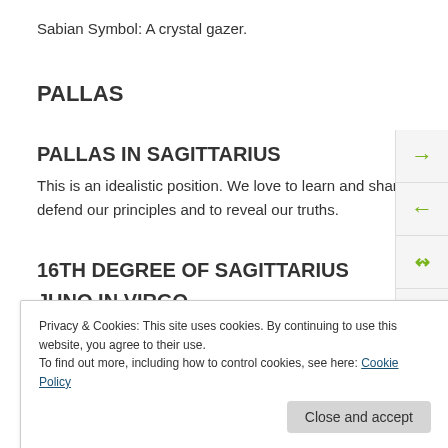Sabian Symbol: A crystal gazer.
PALLAS
PALLAS IN SAGITTARIUS
This is an idealistic position. We love to learn and share our ideas and beliefs with others, and will go to great lengths to defend our principles and to reveal our truths.
16TH DEGREE OF SAGITTARIUS
Privacy & Cookies: This site uses cookies. By continuing to use this website, you agree to their use.
To find out more, including how to control cookies, see here: Cookie Policy
Close and accept
JUNO IN VIRGO